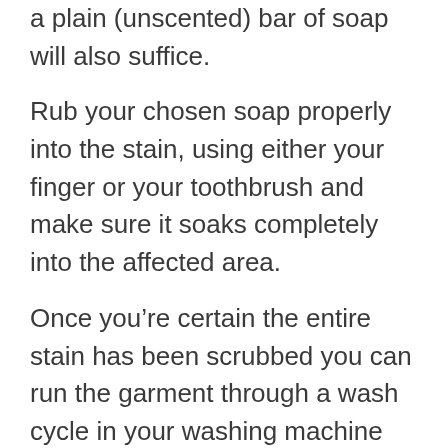a plain (unscented) bar of soap will also suffice.
Rub your chosen soap properly into the stain, using either your finger or your toothbrush and make sure it soaks completely into the affected area.
Once you’re certain the entire stain has been scrubbed you can run the garment through a wash cycle in your washing machine and it should come out bright and clean. Be sure not to use fabric softener in this cycle but do use your usual laundry detergent.